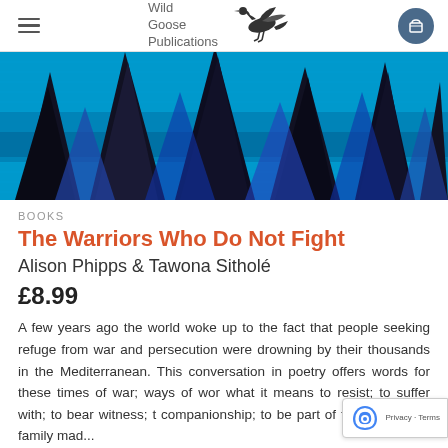Wild Goose Publications
[Figure (photo): Abstract textile or woven fabric artwork with dark triangular/flame shapes against a bright turquoise/cyan blue background, resembling a close-up of a woven tapestry or kilim rug.]
BOOKS
The Warriors Who Do Not Fight
Alison Phipps & Tawona Sitholé
£8.99
A few years ago the world woke up to the fact that people seeking refuge from war and persecution were drowning by their thousands in the Mediterranean. This conversation in poetry offers words for these times of war; ways of wor what it means to resist; to suffer with; to bear witness; t companionship; to be part of the agony of a family mad...